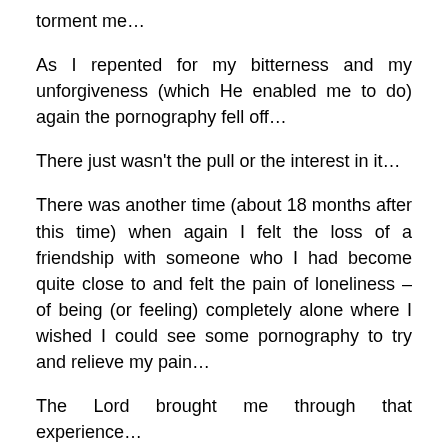torment me…
As I repented for my bitterness and my unforgiveness (which He enabled me to do) again the pornography fell off…
There just wasn't the pull or the interest in it…
There was another time (about 18 months after this time) when again I felt the loss of a friendship with someone who I had become quite close to and felt the pain of loneliness – of being (or feeling) completely alone where I wished I could see some pornography to try and relieve my pain…
The Lord brought me through that experience…
I am not saying that I am sexually perfect – the Lord is still dealing with me on that – but the progress is in that...